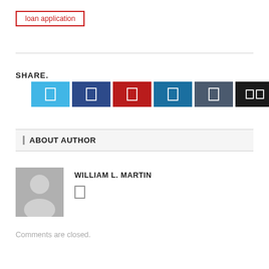loan application
SHARE.
[Figure (other): Row of six social media share buttons in colors: light blue (Twitter), dark blue (Facebook), red (Pinterest), teal (LinkedIn), dark grey (Tumblr), black (more/share). Each button shows a small white icon.]
ABOUT AUTHOR
[Figure (photo): Generic grey avatar/profile placeholder image showing a silhouette of a person (head and shoulders) on grey background.]
WILLIAM L. MARTIN
Comments are closed.